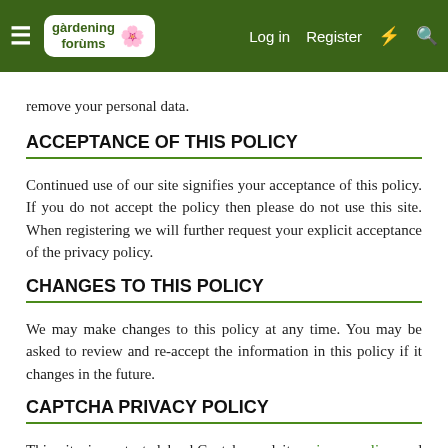gardening forums — Log in Register
remove your personal data.
ACCEPTANCE OF THIS POLICY
Continued use of our site signifies your acceptance of this policy. If you do not accept the policy then please do not use this site. When registering we will further request your explicit acceptance of the privacy policy.
CHANGES TO THIS POLICY
We may make changes to this policy at any time. You may be asked to review and re-accept the information in this policy if it changes in the future.
CAPTCHA PRIVACY POLICY
This site is protected by hCaptcha and its privacy policy and terms of service apply.